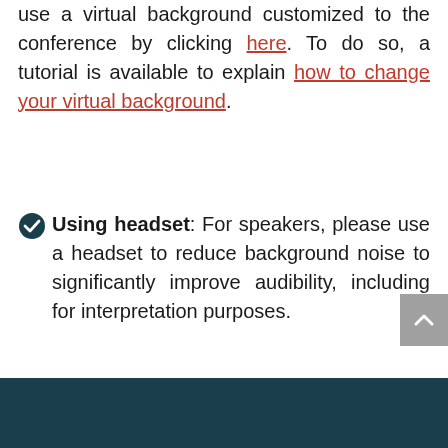use a virtual background customized to the conference by clicking here. To do so, a tutorial is available to explain how to change your virtual background.
Using headset: For speakers, please use a headset to reduce background noise to significantly improve audibility, including for interpretation purposes.